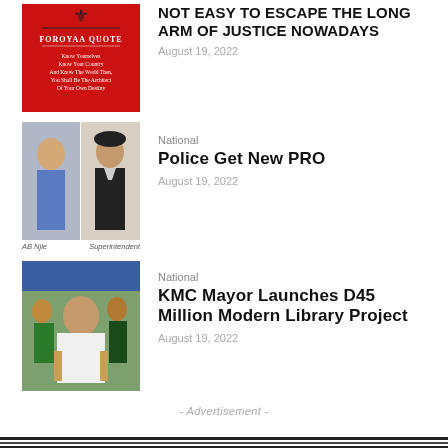[Figure (photo): Red book cover with text and decorative bird emblem, titled FOROYAA QUOTE]
NOT EASY TO ESCAPE THE LONG ARM OF JUSTICE NOWADAYS
August 19, 2022
[Figure (photo): Two-panel photo: man in blue shirt on left, police superintendent in uniform and beret on right. Captions: AB Njie, Superintendent]
National
Police Get New PRO
August 19, 2022
[Figure (photo): Photo of a man in white traditional attire seated, with people in background]
National
KMC Mayor Launches D45 Million Modern Library Project
August 19, 2022
- Advertisement -